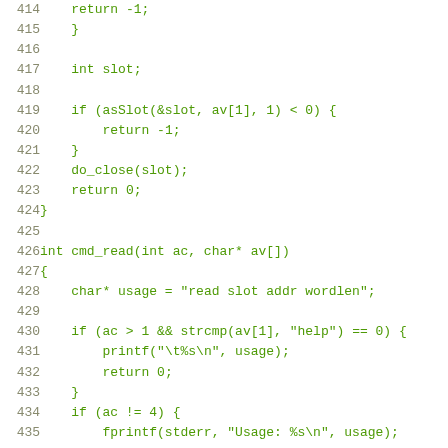Source code listing, lines 414-435, C programming language
414	return -1;
415	}
416
417	int slot;
418
419	if (asSlot(&slot, av[1], 1) < 0) {
420		return -1;
421	}
422	do_close(slot);
423	return 0;
424	}
425
426	int cmd_read(int ac, char* av[])
427	{
428		char* usage = "read slot addr wordlen";
429
430		if (ac > 1 && strcmp(av[1], "help") == 0) {
431			printf("\t%s\n", usage);
432			return 0;
433		}
434		if (ac != 4) {
435			fprintf(stderr, "Usage: %s\n", usage);